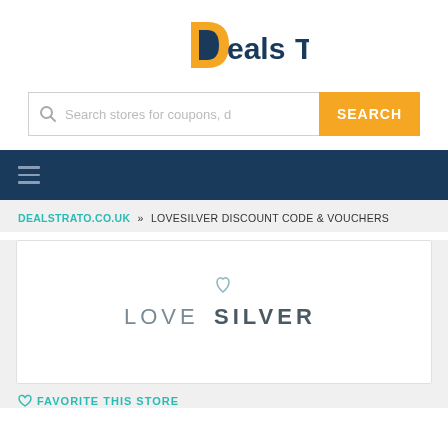[Figure (logo): Deals Trato logo with orange D and dark blue 'eals Trato' text]
[Figure (screenshot): Search bar with placeholder 'Search stores for coupons, d' and orange SEARCH button]
[Figure (other): Dark navy navigation bar with hamburger menu icon]
DEALSTRATO.CO.UK » LOVESILVER DISCOUNT CODE & VOUCHERS
[Figure (logo): LoveSilver brand logo with heart icon above letter I]
♡ FAVORITE THIS STORE